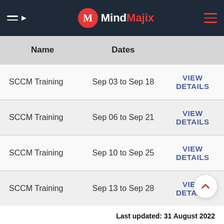MindMajix
| Name | Dates |  |
| --- | --- | --- |
| SCCM Training | Sep 03 to Sep 18 | VIEW DETAILS |
| SCCM Training | Sep 06 to Sep 21 | VIEW DETAILS |
| SCCM Training | Sep 10 to Sep 25 | VIEW DETAILS |
| SCCM Training | Sep 13 to Sep 28 | VIEW DETAILS |
Last updated: 31 August 2022